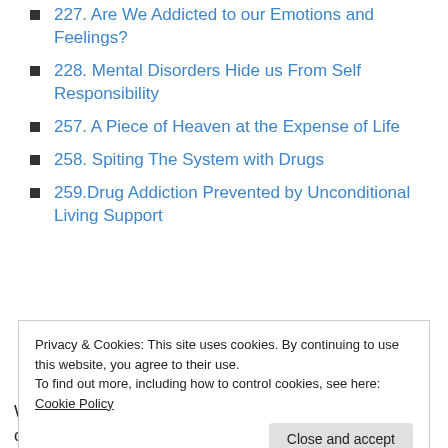227. Are We Addicted to our Emotions and Feelings?
228. Mental Disorders Hide us From Self Responsibility
257. A Piece of Heaven at the Expense of Life
258. Spiting The System with Drugs
259.Drug Addiction Prevented by Unconditional Living Support
Privacy & Cookies: This site uses cookies. By continuing to use this website, you agree to their use.
To find out more, including how to control cookies, see here: Cookie Policy
Close and accept
Well, we've certainly come a long way as humanity in our